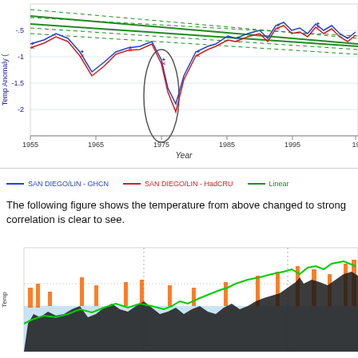[Figure (continuous-plot): Temperature anomaly line chart for San Diego/LIN showing GHCN (blue) and HadCRU (red) series with linear trend (green) and confidence bands (dashed green). Y-axis: Temp Anomaly from about -2 to 0. X-axis: Year from 1955 to ~1999. A gray ellipse highlights a dip around 1975.]
SAN DIEGO/LIN - GHCN   SAN DIEGO/LIN - HadCRU   Linear
The following figure shows the temperature from above changed to strong correlation is clear to see.
[Figure (continuous-plot): Lower chart showing temperature correlation data with orange, black, green and light blue colored bars and lines over time.]